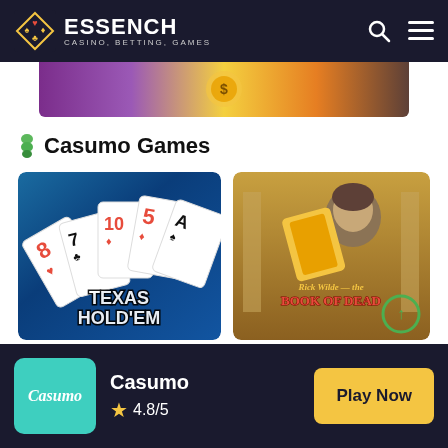ESSENCH CASINO, BETTING, GAMES
[Figure (screenshot): Colorful casino game banner with purple and gold tones, partially visible at top]
Casumo Games
[Figure (screenshot): Texas Hold'em poker card game thumbnail with playing cards on blue felt]
[Figure (screenshot): Book of Dead slot game thumbnail featuring Rick Wilde character with golden book]
Texas Hold'em
Book of Dead
Casumo 4.8/5 Play Now